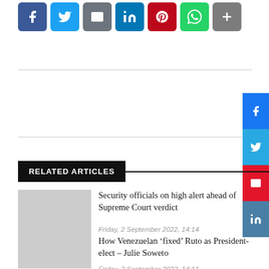[Figure (other): Social media sharing icons row: Facebook (blue), Twitter (light blue), Email (grey), LinkedIn (blue), Pinterest (red), WhatsApp (green), Share (grey)]
RELATED ARTICLES
Security officials on high alert ahead of Supreme Court verdict
Friday, 2 September 2022, 14:14
Activism
How Venezuelan ‘fixed’ Ruto as President-elect – Julie Soweto
Friday, 2 September 2022, 14:11